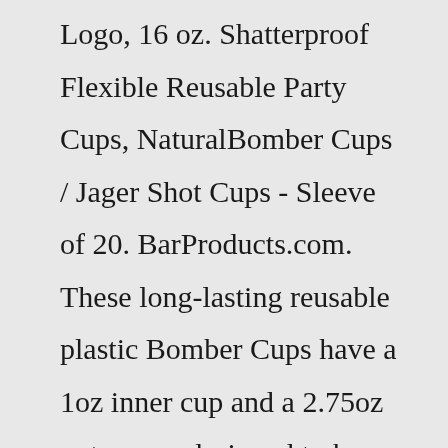Logo, 16 oz. Shatterproof Flexible Reusable Party Cups, NaturalBomber Cups / Jager Shot Cups - Sleeve of 20. BarProducts.com. These long-lasting reusable plastic Bomber Cups have a 1oz inner cup and a 2.75oz outer cup, designed to keep liquors and chasers separated, for po... View full details. $8.95. STADIUM CUPS - 16 Ounce Reusable Plastic Cups are perfect for a bar, college party, tailgate, BBQ, office party, or even a picnic. Keep it cold - The thick